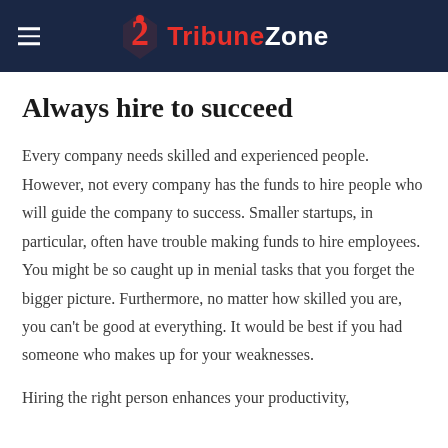TribuneZone
Always hire to succeed
Every company needs skilled and experienced people. However, not every company has the funds to hire people who will guide the company to success. Smaller startups, in particular, often have trouble making funds to hire employees. You might be so caught up in menial tasks that you forget the bigger picture. Furthermore, no matter how skilled you are, you can't be good at everything. It would be best if you had someone who makes up for your weaknesses.
Hiring the right person enhances your productivity,